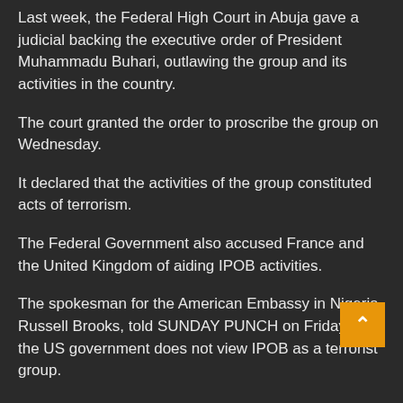Last week, the Federal High Court in Abuja gave a judicial backing the executive order of President Muhammadu Buhari, outlawing the group and its activities in the country.
The court granted the order to proscribe the group on Wednesday.
It declared that the activities of the group constituted acts of terrorism.
The Federal Government also accused France and the United Kingdom of aiding IPOB activities.
The spokesman for the American Embassy in Nigeria, Russell Brooks, told SUNDAY PUNCH on Friday that the US government does not view IPOB as a terrorist group.
He said this in response to our correspondent's email